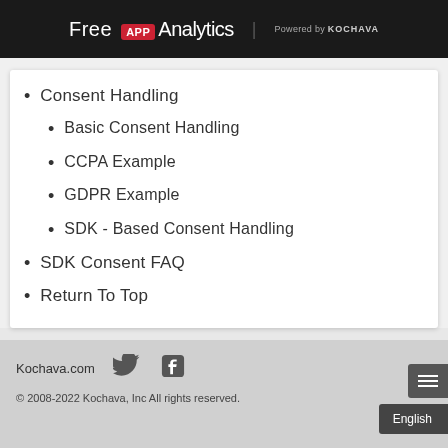Free APP Analytics  Powered by KOCHAVA
Consent Handling
Basic Consent Handling
CCPA Example
GDPR Example
SDK - Based Consent Handling
SDK Consent FAQ
Return To Top
Kochava.com
© 2008-2022 Kochava, Inc All rights reserved.
English